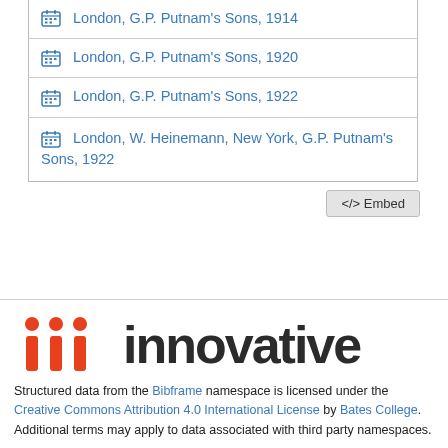London, G.P. Putnam's Sons, 1914
London, G.P. Putnam's Sons, 1920
London, G.P. Putnam's Sons, 1922
London, W. Heinemann, New York, G.P. Putnam's Sons, 1922
[Figure (logo): Innovative Interfaces logo with three red i characters and the word innovative in dark gray]
Structured data from the Bibframe namespace is licensed under the Creative Commons Attribution 4.0 International License by Bates College. Additional terms may apply to data associated with third party namespaces.